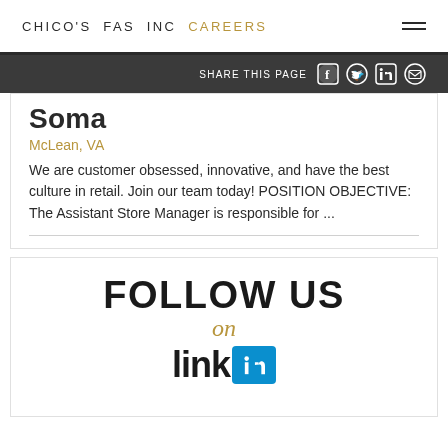CHICO'S FAS INC CAREERS
SHARE THIS PAGE
Soma
McLean, VA
We are customer obsessed, innovative, and have the best culture in retail. Join our team today! POSITION OBJECTIVE: The Assistant Store Manager is responsible for ...
[Figure (infographic): FOLLOW US on LinkedIn promotional banner with LinkedIn logo icon in teal/blue]
FOLLOW US on LinkedIn